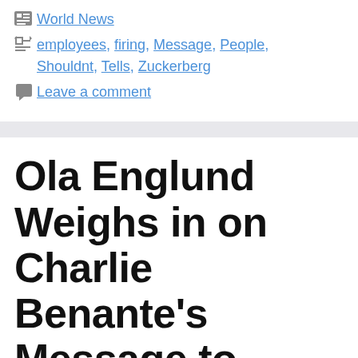World News
employees, firing, Message, People, Shouldnt, Tells, Zuckerberg
Leave a comment
Ola Englund Weighs in on Charlie Benante's Message to Pantera Reunion Haters: 'If You Don't Like It, Don't Come' –